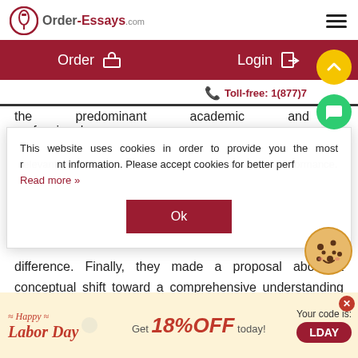[Figure (screenshot): Order-Essays.com website header with logo, hamburger menu, Order and Login buttons, toll-free number, cookie consent popup, body text, and Labor Day promotional banner]
This website uses cookies in order to provide you the most relevant information. Please accept cookies for better performance. Read more »
Ok
difference. Finally, they made a proposal about a conceptual shift toward a comprehensive understanding which shoud be based on poststructuralist and constructivist perspectives on
≈ Happy ≈ Labor Day   Get 18%OFF today!   Your code is: LDAY